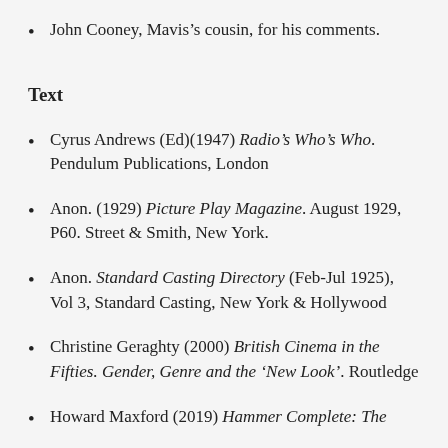John Cooney, Mavis's cousin, for his comments.
Text
Cyrus Andrews (Ed)(1947) Radio's Who's Who. Pendulum Publications, London
Anon. (1929) Picture Play Magazine. August 1929, P60. Street & Smith, New York.
Anon. Standard Casting Directory (Feb-Jul 1925), Vol 3, Standard Casting, New York & Hollywood
Christine Geraghty (2000) British Cinema in the Fifties. Gender, Genre and the 'New Look'. Routledge
Howard Maxford (2019) Hammer Complete: The